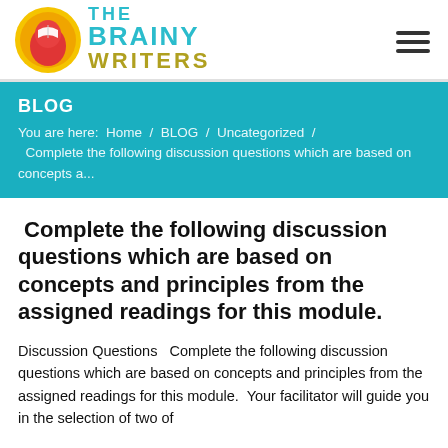THE BRAINY WRITERS
BLOG
You are here:  Home  /  BLOG  /  Uncategorized  /  Complete the following discussion questions which are based on concepts a...
Complete the following discussion questions which are based on concepts and principles from the assigned readings for this module.
Discussion Questions   Complete the following discussion questions which are based on concepts and principles from the assigned readings for this module.  Your facilitator will guide you in the selection of two of